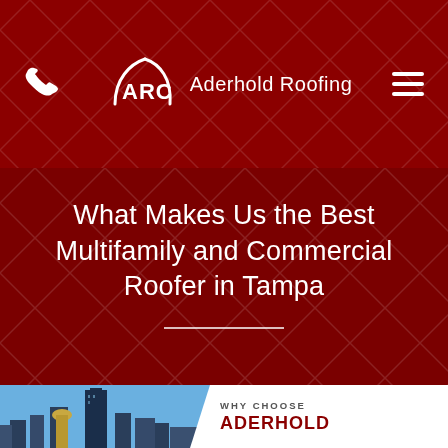ARC Aderhold Roofing
What Makes Us the Best Multifamily and Commercial Roofer in Tampa
[Figure (photo): Tampa city skyline with tall buildings against a blue sky]
WHY CHOOSE ADERHOLD